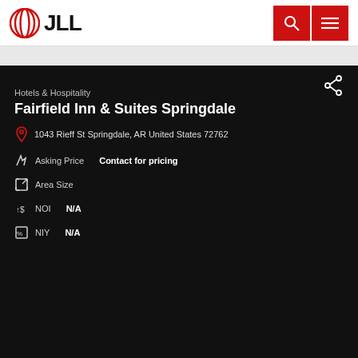[Figure (logo): JLL logo with red circular icon and bold JLL text]
Hotels & Hospitality
Fairfield Inn & Suites Springdale
1043 Rieff St Springdale, AR United States 72762
Asking Price  Contact for pricing
Area Size
NOI  N/A
NIY  N/A